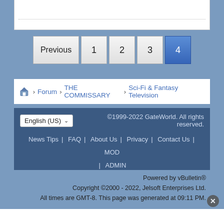[Figure (screenshot): Top content box with dotted divider line]
[Figure (screenshot): Pagination bar with buttons: Previous, 1, 2, 3, 4 (active)]
Forum > THE COMMISSARY > Sci-Fi & Fantasy Television
©1999-2022 GateWorld. All rights reserved. | News Tips | FAQ | About Us | Privacy | Contact Us | MOD | ADMIN
Powered by vBulletin® Copyright ©2000 - 2022, Jelsoft Enterprises Ltd. All times are GMT-8. This page was generated at 09:11 PM.